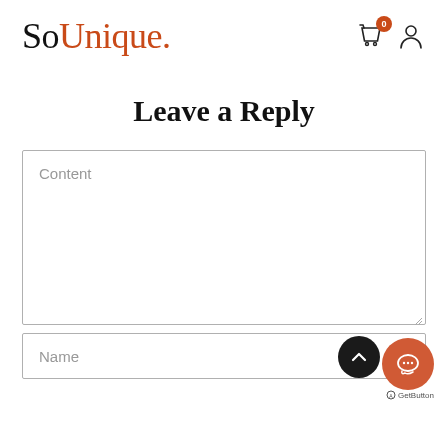SoUnique.
Leave a Reply
Content
Name